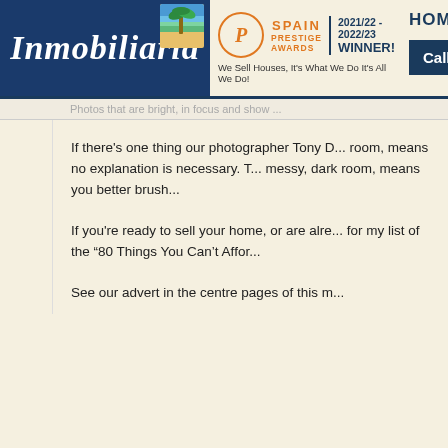[Figure (logo): Inmobiliaria real estate agency logo — dark blue banner with white italic script text 'Inmobiliaria' and a palm tree / beach icon in top right corner]
[Figure (logo): Spain Prestige Awards 2021/22 - 2022/23 Winner badge with orange circle P logo]
We Sell Houses, It's What We Do It's All We Do!
HOME
Call U
Photos that are bright, in focus and show ...
If there's one thing our photographer Tony D... room, means no explanation is necessary. T... messy, dark room, means you better brush...
If you're ready to sell your home, or are alre... for my list of the "80 Things You Can't Affor...
See our advert in the centre pages of this m...